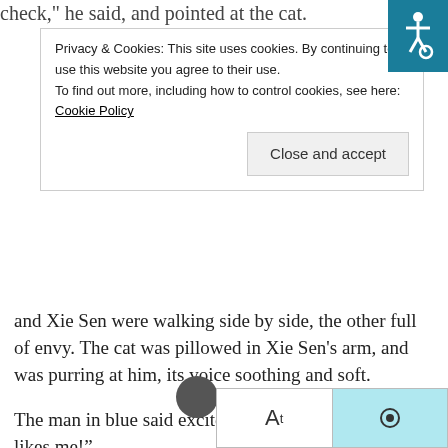check," he said, and pointed at the cat.
Privacy & Cookies: This site uses cookies. By continuing to use this website you agree to their use.
To find out more, including how to control cookies, see here: Cookie Policy
Close and accept
and Xie Sen were walking side by side, the other full of envy. The cat was pillowed in Xie Sen's arm, and was purring at him, its voice soothing and soft.
The man in blue said excitedly, “It’s purring at me! It likes me!”
Xie Sen gritted his teeth to keep from laughing. This man was definitely a cat slave! It didn’t take long to get to the care center. Xie Sen originally thought the care center was similar to the pet clinic in his previous life, but he didn’t expect it to cover a huge area, like a castle.
Most of the walls he had passed on the road before getting to the care center.